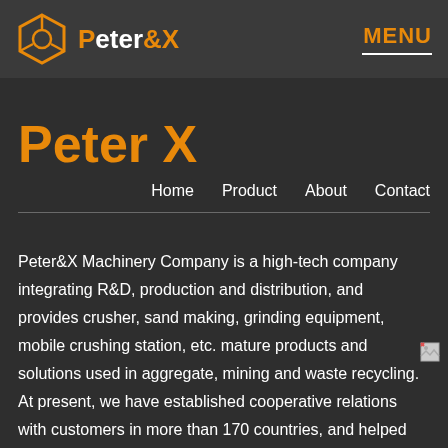Peter&X | MENU
Peter X
Home   Product   About   Contact
Peter&X Machinery Company is a high-tech company integrating R&D, production and distribution, and provides crusher, sand making, grinding equipment, mobile crushing station, etc. mature products and solutions used in aggregate, mining and waste recycling. At present, we have established cooperative relations with customers in more than 170 countries, and helped them plan reasonable programme and realize scientific process.